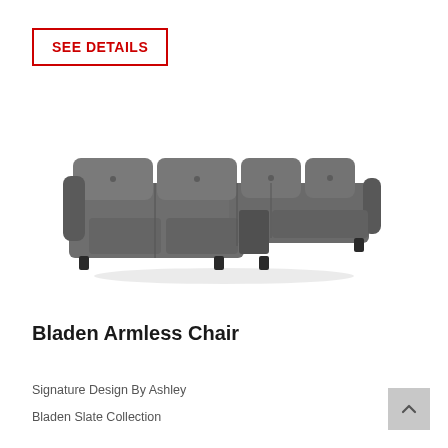SEE DETAILS
[Figure (photo): Gray sectional sofa (Bladen Armless Chair) shown from a front-angle view, featuring tufted cushions and dark feet.]
Bladen Armless Chair
Signature Design By Ashley
Bladen Slate Collection